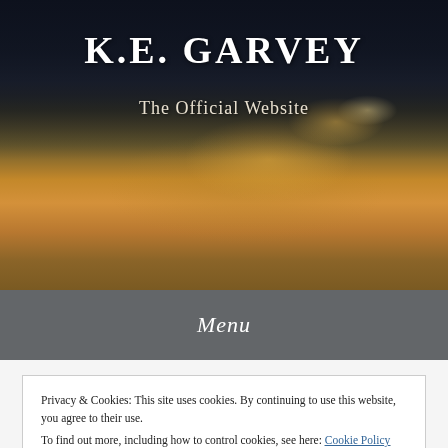[Figure (photo): Hero banner with dramatic sky photo showing dark clouds with warm orange/golden sunset light breaking through, dark blue-grey tones at top transitioning to warm amber and orange tones below]
K.E. GARVEY
The Official Website
Menu
Privacy & Cookies: This site uses cookies. By continuing to use this website, you agree to their use.
To find out more, including how to control cookies, see here: Cookie Policy
Close and accept